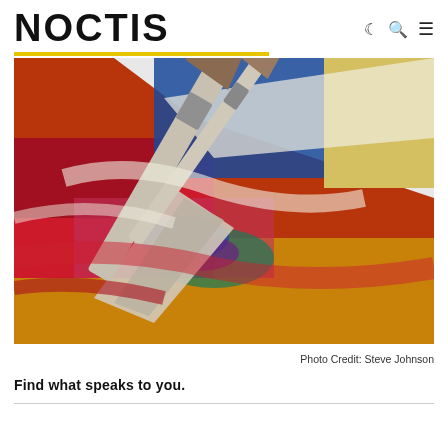NOCTIS
[Figure (photo): Close-up photograph of two paint brushes resting on a colorful painted canvas with red, blue, white, and golden paint strokes. Photo by Steve Johnson.]
Photo Credit: Steve Johnson
Find what speaks to you.